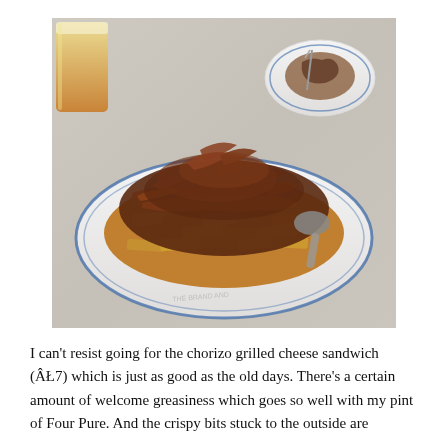[Figure (photo): A plate of thick-cut chips (french fries) piled high with crispy shredded chorizo and meat toppings, served on a white plate with a blue rim on a marble table. A glass of amber beer is visible in the background top-left, and another plate with food and cutlery is in the background top-right.]
I can't resist going for the chorizo grilled cheese sandwich (ÂŁ7) which is just as good as the old days. There's a certain amount of welcome greasiness which goes so well with my pint of Four Pure. And the crispy bits stuck to the outside are